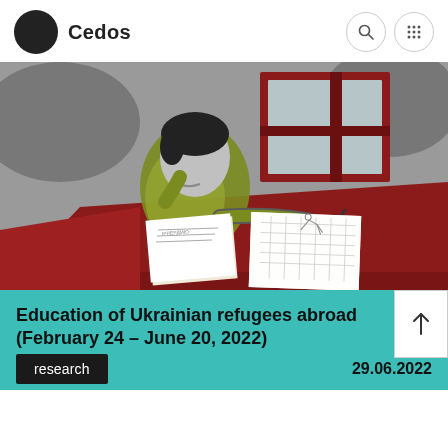Cedos
[Figure (illustration): Illustration of a person sitting at a red desk with papers and documents, with a framed picture in the background. Monochrome background with the figure rendered in olive green and the desk/frame in dark red.]
Education of Ukrainian refugees abroad (February 24 – June 20, 2022)
research
29.06.2022